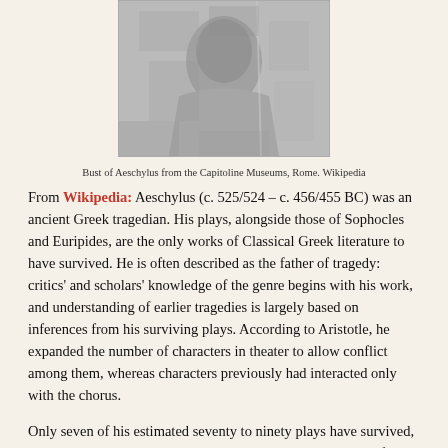[Figure (photo): Black and white photograph of a bust of Aeschylus, showing the head and upper torso of a marble sculpture]
Bust of Aeschylus from the Capitoline Museums, Rome. Wikipedia
From Wikipedia: Aeschylus (c. 525/524 – c. 456/455 BC) was an ancient Greek tragedian. His plays, alongside those of Sophocles and Euripides, are the only works of Classical Greek literature to have survived. He is often described as the father of tragedy: critics' and scholars' knowledge of the genre begins with his work, and understanding of earlier tragedies is largely based on inferences from his surviving plays. According to Aristotle, he expanded the number of characters in theater to allow conflict among them, whereas characters previously had interacted only with the chorus.
Only seven of his estimated seventy to ninety plays have survived, and there is a longstanding debate regarding his authorship of one of these plays, Prometheus Bound, which some believe his son Euphorion actually wrote. Fragments of some other plays have